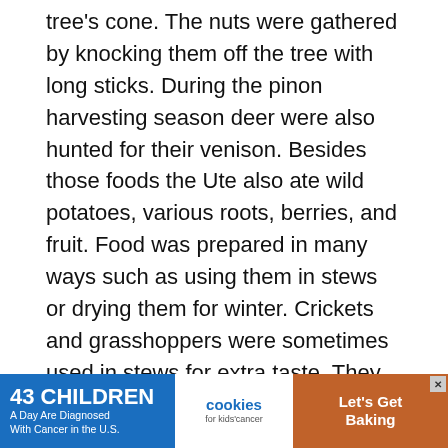tree's cone.  The nuts were gathered by knocking them off the tree with long sticks.  During the pinon harvesting season deer were also hunted for their venison.  Besides those foods the Ute also ate wild potatoes, various roots, berries, and fruit.  Food was prepared in many ways such as using them in stews or drying them for winter.  Crickets and grasshoppers were sometimes used in stews for extra taste.  They also grew tobacco for use in religious ceremonies or in tribal customs.
Men also went hunting when not helping with the collection of berries and nuts.  The Ute hunted and fished many things.  Some of the things they hunted were buffalo, elk, whitetail deer, mule deer, antelope, m...
[Figure (other): Advertisement banner: '43 CHILDREN A Day Are Diagnosed With Cancer in the U.S.' with cookies for kids' cancer logo and 'Let's Get Baking' call to action]